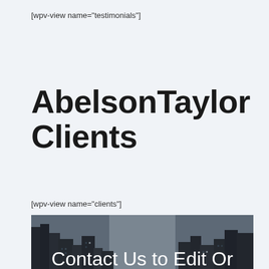[wpv-view name="testimonials"]
AbelsonTaylor Clients
[wpv-view name="clients"]
[Figure (photo): City street photo with tall skyscrapers and yellow taxis, overlaid with white text reading 'Contact Us to Edit Or Submit Your Agency']
Contact Us to Edit Or Submit Your Agency